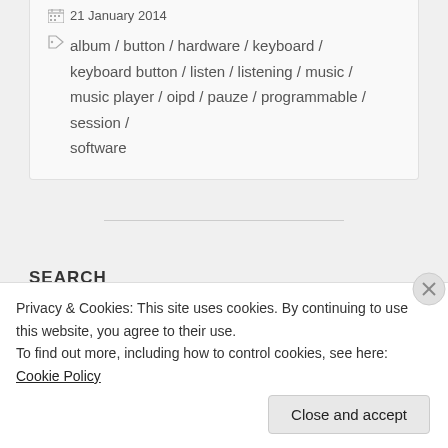21 January 2014
album / button / hardware / keyboard / keyboard button / listen / listening / music / music player / oipd / pauze / programmable / session / software
SEARCH
Search …
Privacy & Cookies: This site uses cookies. By continuing to use this website, you agree to their use.
To find out more, including how to control cookies, see here: Cookie Policy
Close and accept